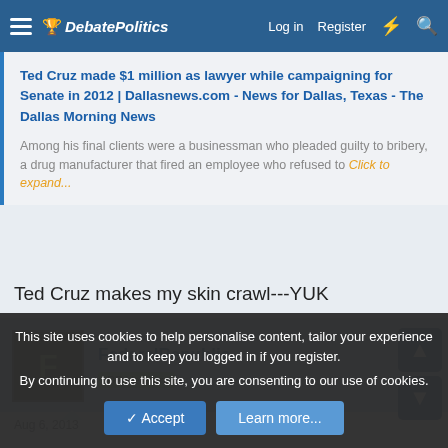DebatePolitics — Log in  Register
Ted Cruz made $1 million as lawyer while campaigning for Senate in 2012 | Dallasnews.com - News for Dallas, Texas - The Dallas Morning News
Among his final clients were a businessman who pleaded guilty to bribery, a drug manufacturer that fired an employee who refused to  Click to expand...
Ted Cruz makes my skin crawl---YUK
FederalRepublic
DP Veteran
Aug 6, 2013
This site uses cookies to help personalise content, tailor your experience and to keep you logged in if you register.
By continuing to use this site, you are consenting to our use of cookies.
Accept  Learn more...